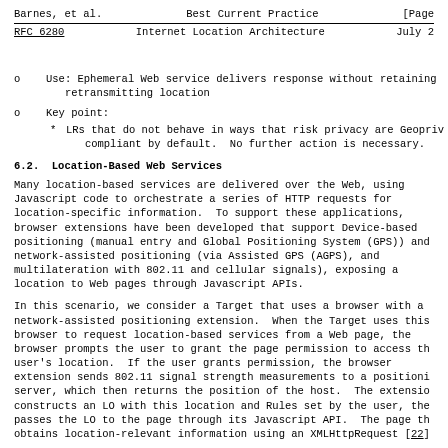Barnes, et al.          Best Current Practice                        [Page
RFC 6280              Internet Location Architecture                July 2
Use: Ephemeral Web service delivers response without retaining retransmitting location
Key point:
LRs that do not behave in ways that risk privacy are Geoprivacy compliant by default.  No further action is necessary.
6.2.  Location-Based Web Services
Many location-based services are delivered over the Web, using Javascript code to orchestrate a series of HTTP requests for location-specific information.  To support these applications, browser extensions have been developed that support Device-based positioning (manual entry and Global Positioning System (GPS)) and network-assisted positioning (via Assisted GPS (AGPS), and multilateration with 802.11 and cellular signals), exposing a location to Web pages through Javascript APIs.
In this scenario, we consider a Target that uses a browser with a network-assisted positioning extension.  When the Target uses this browser to request location-based services from a Web page, the browser prompts the user to grant the page permission to access the user's location.  If the user grants permission, the browser extension sends 802.11 signal strength measurements to a positioning server, which then returns the position of the host.  The extension constructs an LO with this location and Rules set by the user, then passes the LO to the page through its Javascript API.  The page then obtains location-relevant information using an XMLHttpRequest [22]